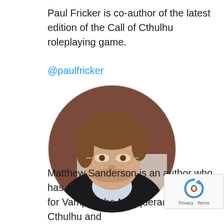Paul Fricker is co-author of the latest edition of the Call of Cthulhu roleplaying game.
@paulfricker
[Figure (photo): Circular portrait photo of a man with glasses, light brown hair, wearing a dark suit jacket with a blue tie, smiling slightly.]
Matthew Sanderson is an author who has writ for Vampire the Masquerade, Call of Cthulhu and